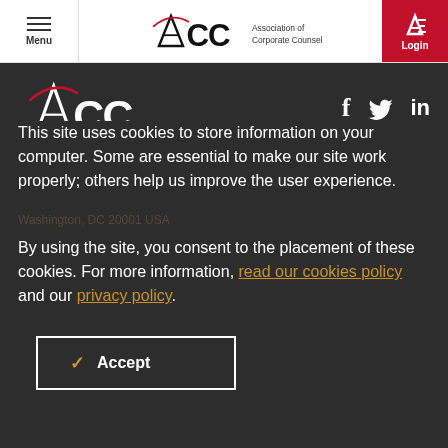Menu | ACC Association of Corporate Counsel | Login
[Figure (logo): ACC Association of Corporate Counsel logo in dark footer area with social media icons (f, twitter bird, in)]
ACC Global Headquarters
This site uses cookies to store information on your computer. Some are essential to make our site work properly; others help us improve the user experience.
By using the site, you consent to the placement of these cookies. For more information, read our cookies policy and our privacy policy.
Accept